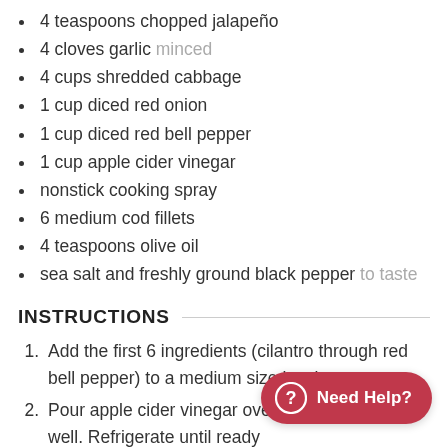4 teaspoons chopped jalapeño
4 cloves garlic minced
4 cups shredded cabbage
1 cup diced red onion
1 cup diced red bell pepper
1 cup apple cider vinegar
nonstick cooking spray
6 medium cod fillets
4 teaspoons olive oil
sea salt and freshly ground black pepper to taste
INSTRUCTIONS
Add the first 6 ingredients (cilantro through red bell pepper) to a medium size bowl.
Pour apple cider vinegar over well. Refrigerate until ready
Coat grill rack with nonstick cooking spray